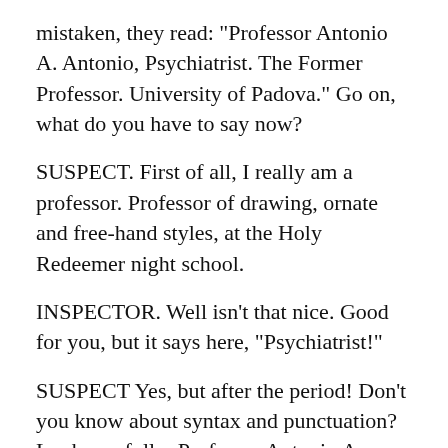mistaken, they read: "Professor Antonio A. Antonio, Psychiatrist. The Former Professor. University of Padova." Go on, what do you have to say now?
SUSPECT. First of all, I really am a professor. Professor of drawing, ornate and free-hand styles, at the Holy Redeemer night school.
INSPECTOR. Well isn't that nice. Good for you, but it says here, "Psychiatrist!"
SUSPECT Yes, but after the period! Don't you know about syntax and punctuation? Look carefully: Professor Antonio A. Antonio. Period. Then there's a capital P Psychiatrist. Now, you'll admit it isn't acting under false pretenses to say: "I am a psychiatrist." It's like saying, "I'm a psychologist, botanist, vegetarian, arthritic." Do you have a knowledge of Italian grammar